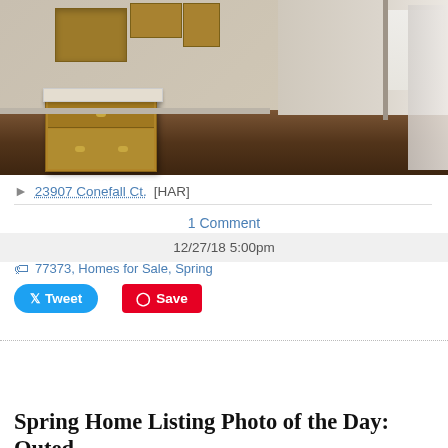[Figure (photo): Interior photo of an empty house showing wooden kitchen cabinets with a white countertop on the left, and an open living area with dark hardwood floors on the right. Walls are light grey/beige.]
23907 Conefall Ct. [HAR]
1 Comment
12/27/18 5:00pm
77373, Homes for Sale, Spring
Tweet
Save
Spring Home Listing Photo of the Day: Outed